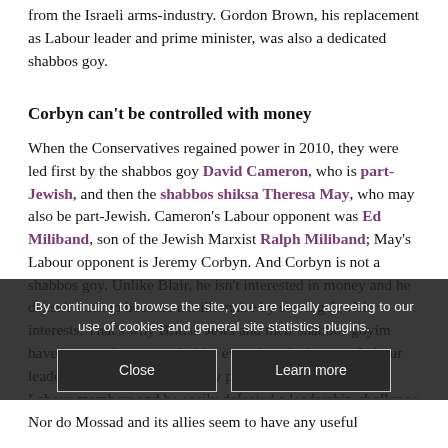from the Israeli arms-industry. Gordon Brown, his replacement as Labour leader and prime minister, was also a dedicated shabbos goy.
Corbyn can't be controlled with money
When the Conservatives regained power in 2010, they were led first by the shabbos goy David Cameron, who is part-Jewish, and then the shabbos shiksa Theresa May, who may also be part-Jewish. Cameron's Labour opponent was Ed Miliband, son of the Jewish Marxist Ralph Miliband; May's Labour opponent is Jeremy Corbyn. And Corbyn is not a shabbos goy. Unlike Blair, he isn't interested in money and he doesn't want to become a millionaire by serving Jewish interests. That's why British Jews and their shabbos goyim have been trying to topple him ever since he became Labour leader. Unfortunately, he's very popular among ordinary Labour members and he easily defeated a leadership challenge in 2...
Nor do Mossad and its allies seem to have any useful
By continuing to browse the site, you are legally agreeing to our use of cookies and general site statistics plugins.